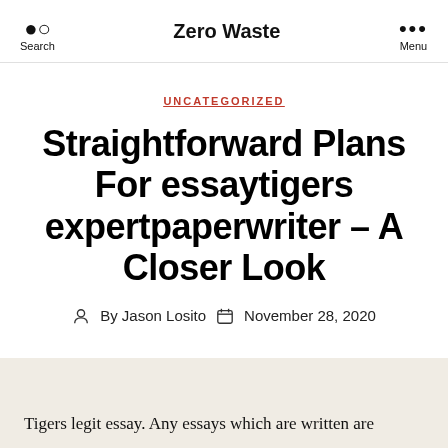Search | Zero Waste | Menu
UNCATEGORIZED
Straightforward Plans For essaytigers expertpaperwriter – A Closer Look
By Jason Losito  November 28, 2020
Tigers legit essay. Any essays which are written are